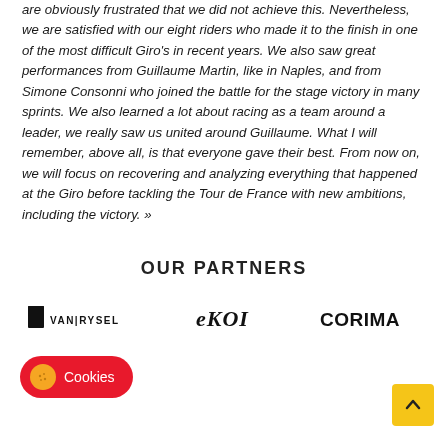are obviously frustrated that we did not achieve this. Nevertheless, we are satisfied with our eight riders who made it to the finish in one of the most difficult Giro's in recent years. We also saw great performances from Guillaume Martin, like in Naples, and from Simone Consonni who joined the battle for the stage victory in many sprints. We also learned a lot about racing as a team around a leader, we really saw us united around Guillaume. What I will remember, above all, is that everyone gave their best. From now on, we will focus on recovering and analyzing everything that happened at the Giro before tackling the Tour de France with new ambitions, including the victory. »
OUR PARTNERS
[Figure (logo): Partner logos: VAN|RYSEL, EKOI, CORIMA displayed in a row]